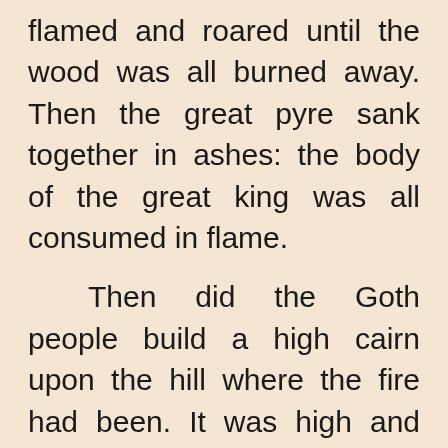flamed and roared until the wood was all burned away. Then the great pyre sank together in ashes: the body of the great king was all consumed in flame.
Then did the Goth people build a high cairn upon the hill where the fire had been. It was high and broad, and might be seen for many miles by the travellers upon the sea. For ten days they built up the beacon of